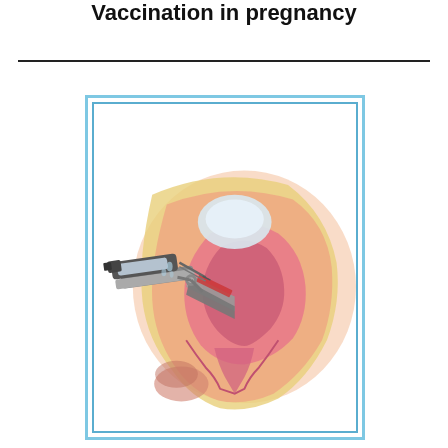Vaccination in pregnancy
[Figure (illustration): Medical illustration showing a cross-sectional anatomical diagram of a pelvic region during a gynecological procedure. A speculum and syringe/injection device are shown inserted into the vaginal canal, with a cross-section view of the uterus, bladder, and surrounding pelvic anatomy visible in pink and yellow tones.]